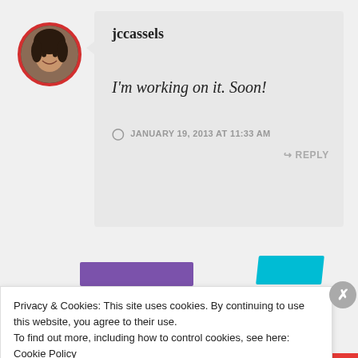[Figure (photo): Circular avatar photo of a woman with dark hair, smiling, with a red border ring]
jccassels
I'm working on it. Soon!
JANUARY 19, 2013 AT 11:33 AM
↪ REPLY
Privacy & Cookies: This site uses cookies. By continuing to use this website, you agree to their use.
To find out more, including how to control cookies, see here: Cookie Policy
Close and accept